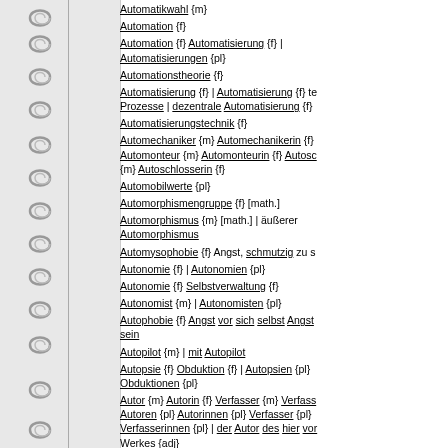Automatikwahl {m}
Automation {f}
Automation {f} Automatisierung {f} | Automatisierungen {pl}
Automationstheorie {f}
Automatisierung {f} | Automatisierung {f} te Prozesse | dezentrale Automatisierung {f}
Automatisierungstechnik {f}
Automechaniker {m} Automechanikerin {f} Automonteur {m} Automonteurin {f} Autosc {m} Autoschlosserin {f}
Automobilwerte {pl}
Automorphismengruppe {f} [math.]
Automorphismus {m} [math.] | äußerer Automorphismus
Automysophobie {f} Angst, schmutzig zu s
Autonomie {f} | Autonomien {pl}
Autonomie {f} Selbstverwaltung {f}
Autonomist {m} | Autonomisten {pl}
Autophobie {f} Angst vor sich selbst Angst sein
Autopilot {m} | mit Autopilot
Autopsie {f} Obduktion {f} | Autopsien {pl} Obduktionen {pl}
Autor {m} Autorin {f} Verfasser {m} Verfasserinnen {pl} | der Autor des hier vor Werkes {adj}
Autoradio {n}
Autoreifen {m}
Autori... {...}